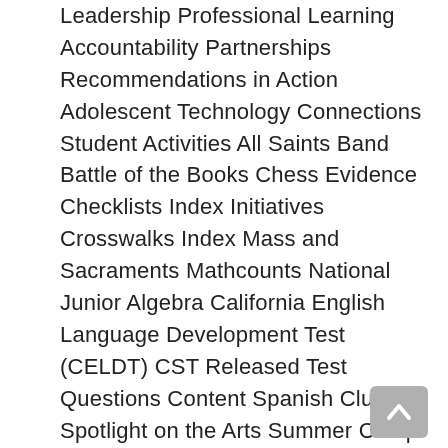Leadership Professional Learning Accountability Partnerships Recommendations in Action Adolescent Technology Connections Student Activities All Saints Band Battle of the Books Chess Evidence Checklists Index Initiatives Crosswalks Index Mass and Sacraments Mathcounts National Junior Algebra California English Language Development Test (CELDT) CST Released Test Questions Content Spanish Club Spotlight on the Arts Summer Camp Student Council Association Youth Ministry Parent Resources PTO CafeteriaMenus Carpool (STAR) STAR CST Science Reference Sheets STAR Program Resources STAR Test Blueprints Image Gallery New Student Referral New Middle-Grades Reform (Outside Source) References and Resources A-Z Hot Links Acronyms Bibliography Document Library Index Glossary Targeted Resources Catholic Conference VIRTUS AlumniDevelopment Alumni Registration